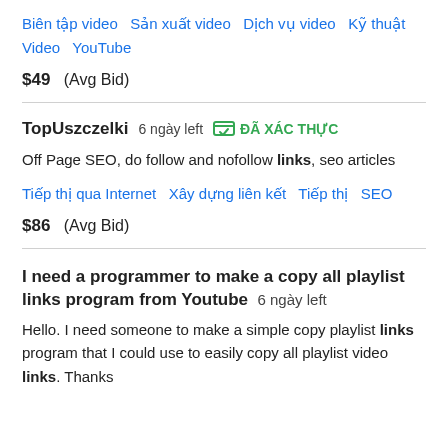Biên tập video   Sản xuất video   Dịch vụ video   Kỹ thuật Video   YouTube
$49  (Avg Bid)
TopUszczelki  6 ngày left  ĐÃ XÁC THỰC
Off Page SEO, do follow and nofollow links, seo articles
Tiếp thị qua Internet   Xây dựng liên kết   Tiếp thị   SEO
$86  (Avg Bid)
I need a programmer to make a copy all playlist links program from Youtube  6 ngày left
Hello. I need someone to make a simple copy playlist links program that I could use to easily copy all playlist video links. Thanks